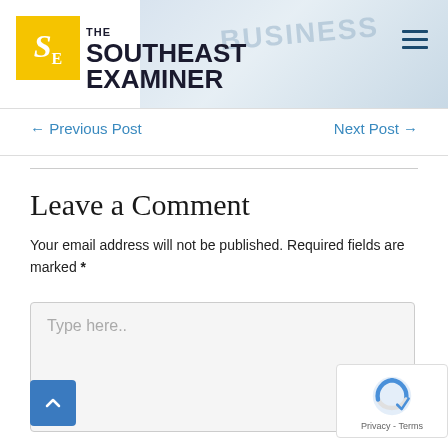[Figure (logo): The Southeast Examiner newspaper logo with yellow SE box and text]
← Previous Post
Next Post →
Leave a Comment
Your email address will not be published. Required fields are marked *
Type here..
[Figure (other): reCAPTCHA badge with Privacy and Terms text]